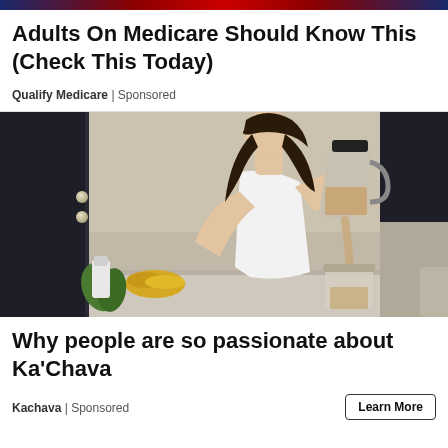Adults On Medicare Should Know This (Check This Today)
Qualify Medicare | Sponsored
[Figure (photo): Woman in white crop top pouring a smoothie from a blender pitcher into a glass jar in a modern kitchen]
Why people are so passionate about Ka'Chava
Kachava | Sponsored